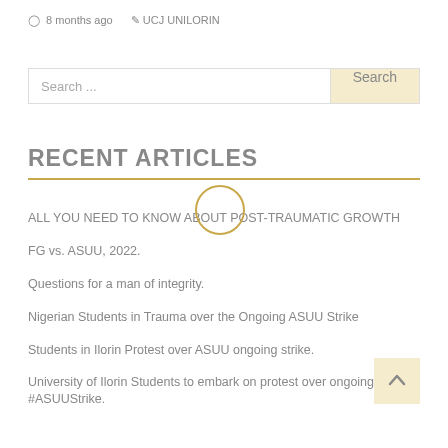8 months ago  UCJ UNILORIN
Search ...
RECENT ARTICLES
ALL YOU NEED TO KNOW ABOUT POST-TRAUMATIC GROWTH
FG vs. ASUU, 2022.
Questions for a man of integrity.
Nigerian Students in Trauma over the Ongoing ASUU Strike
Students in Ilorin Protest over ASUU ongoing strike.
University of Ilorin Students to embark on protest over ongoing #ASUUStrike.